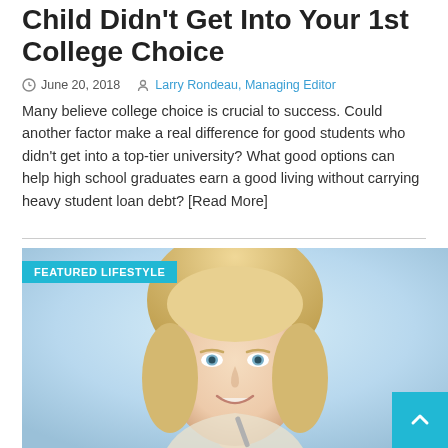Child Didn't Get Into Your 1st College Choice
June 20, 2018   Larry Rondeau, Managing Editor
Many believe college choice is crucial to success. Could another factor make a real difference for good students who didn't get into a top-tier university? What good options can help high school graduates earn a good living without carrying heavy student loan debt? [Read More]
[Figure (photo): Smiling blonde woman looking at camera, with a blue 'FEATURED LIFESTYLE' badge overlay in the upper left corner of the image]